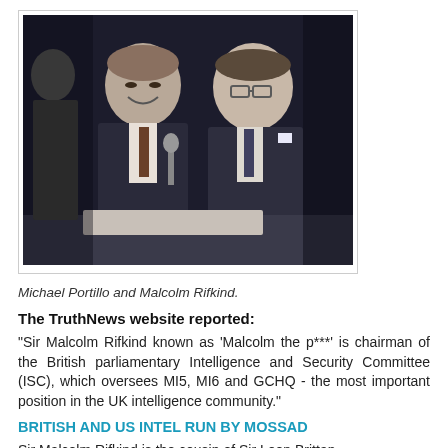[Figure (photo): Black and white / dark photograph of two men in suits laughing together at what appears to be a formal event or dinner. Michael Portillo on the left and Malcolm Rifkind on the right.]
Michael Portillo and Malcolm Rifkind.
The TruthNews website reported:
"Sir Malcolm Rifkind known as 'Malcolm the p***' is chairman of the British parliamentary Intelligence and Security Committee (ISC), which oversees MI5, MI6 and GCHQ - the most important position in the UK intelligence community."
BRITISH AND US INTEL RUN BY MOSSAD
Sir Malcolm Rifkind is the cousin of Sir Leon Brittan